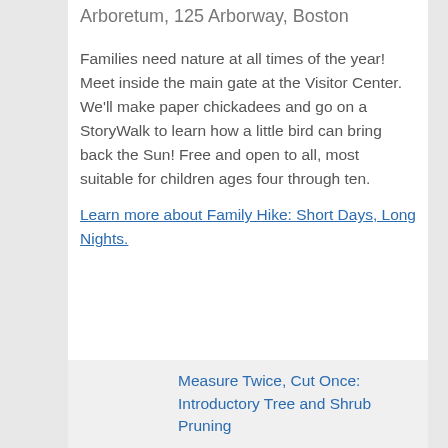Arboretum, 125 Arborway, Boston
Families need nature at all times of the year! Meet inside the main gate at the Visitor Center. We'll make paper chickadees and go on a StoryWalk to learn how a little bird can bring back the Sun! Free and open to all, most suitable for children ages four through ten.
Learn more about Family Hike: Short Days, Long Nights.
Measure Twice, Cut Once: Introductory Tree and Shrub Pruning